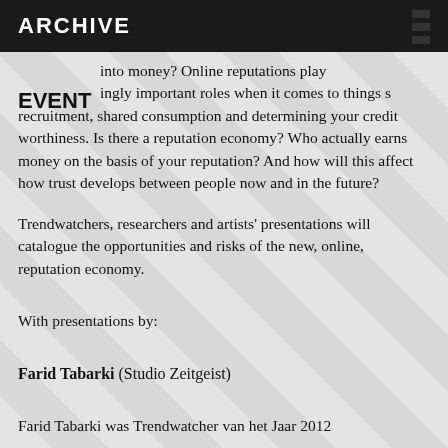ARCHIVE
EVENT
into money? Online reputations play strongly important roles when it comes to things such as recruitment, shared consumption and determining your credit worthiness. Is there a reputation economy? Who actually earns money on the basis of your reputation? And how will this affect how trust develops between people now and in the future?
Trendwatchers, researchers and artists' presentations will catalogue the opportunities and risks of the new, online, reputation economy.
With presentations by:
Farid Tabarki (Studio Zeitgeist)
Farid Tabarki was Trendwatcher van het Jaar 2012